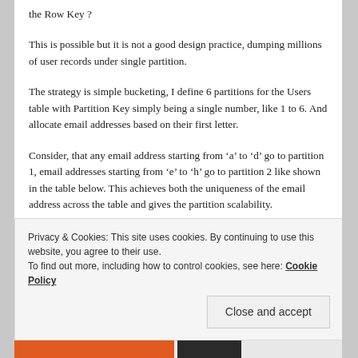the Row Key ?
This is possible but it is not a good design practice, dumping millions of user records under single partition.
The strategy is simple bucketing, I define 6 partitions for the Users table with Partition Key simply being a single number, like 1 to 6. And allocate email addresses based on their first letter.
Consider, that any email address starting from ‘a’ to ‘d’ go to partition 1, email addresses starting from ‘e’ to ‘h’ go to partition 2 like shown in the table below. This achieves both the uniqueness of the email address across the table and gives the partition scalability.
Privacy & Cookies: This site uses cookies. By continuing to use this website, you agree to their use.
To find out more, including how to control cookies, see here: Cookie Policy
Close and accept